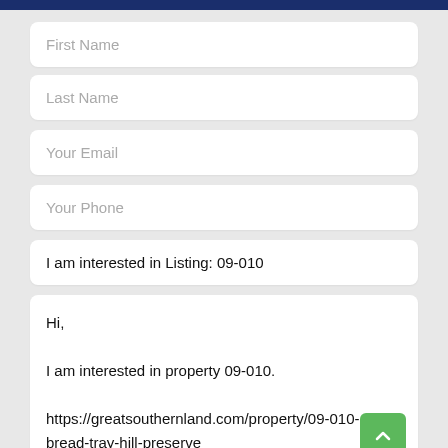First Name
Last Name
Your Email
Your Phone
I am interested in Listing: 09-010
Hi,

I am interested in property 09-010.

https://greatsouthernland.com/property/09-010-bread-tray-hill-preserve